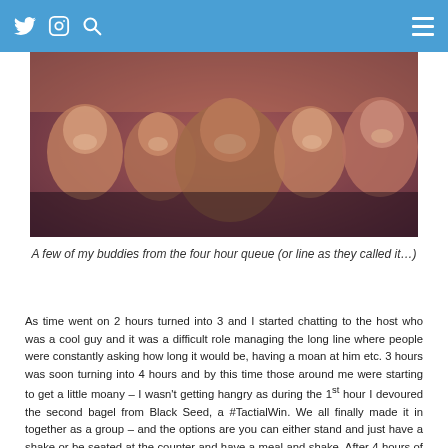Twitter | Instagram | Search | Menu
[Figure (photo): Group selfie of five smiling friends in a dimly lit venue; warm reddish lighting.]
A few of my buddies from the four hour queue (or line as they called it…)
As time went on 2 hours turned into 3 and I started chatting to the host who was a cool guy and it was a difficult role managing the long line where people were constantly asking how long it would be, having a moan at him etc. 3 hours was soon turning into 4 hours and by this time those around me were starting to get a little moany – I wasn't getting hangry as during the 1st hour I devoured the second bagel from Black Seed, a #TactialWin. We all finally made it in together as a group – and the options are you can either stand and just have a shake or be seated at the counter and have a meal and shake. After 4 hours of standing I opted for the latter. Yep I arrived at 6.15pm and had finally sat down at 10.22pm.